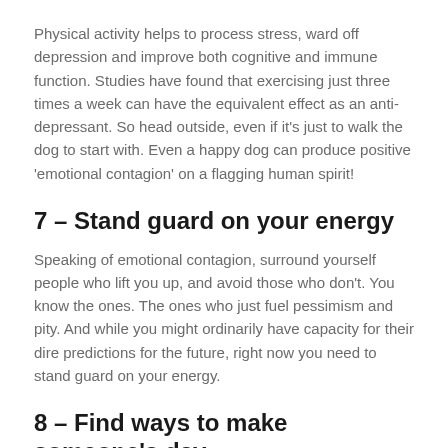Physical activity helps to process stress, ward off depression and improve both cognitive and immune function. Studies have found that exercising just three times a week can have the equivalent effect as an anti-depressant. So head outside, even if it's just to walk the dog to start with. Even a happy dog can produce positive 'emotional contagion' on a flagging human spirit!
7 – Stand guard on your energy
Speaking of emotional contagion, surround yourself people who lift you up, and avoid those who don't. You know the ones. The ones who just fuel pessimism and pity. And while you might ordinarily have capacity for their dire predictions for the future, right now you need to stand guard on your energy.
8 – Find ways to make someone's day